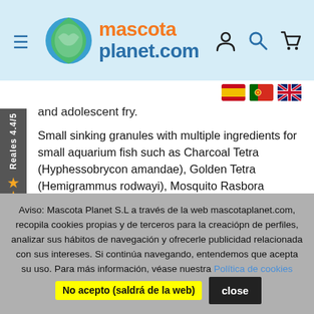[Figure (logo): Mascota Planet.com logo with fish icon and orange/blue text, plus hamburger menu icon on left and user/search/cart icons on right, on light blue header background]
[Figure (other): Three country flag icons: Spain, Portugal, UK]
and adolescent fry.
Small sinking granules with multiple ingredients for small aquarium fish such as Charcoal Tetra (Hyphessobrycon amandae), Golden Tetra (Hemigrammus rodwayi), Mosquito Rasbora (Boraras brigittae), Boraras maculatus, Neon Tetra (Paracheirodon innesi), Pygmy Cory (Corydoras pygmaeus) ), as well as the adolescent fingerlings.
Aviso: Mascota Planet S.L a través de la web mascotaplanet.com, recopila cookies propias y de terceros para la creaciópn de perfiles, analizar sus hábitos de navegación y ofrecerle publicidad relacionada con sus intereses. Si continúa navegando, entendemos que acepta su uso. Para más información, véase nuestra Política de cookies No acepto (saldrá de la web)